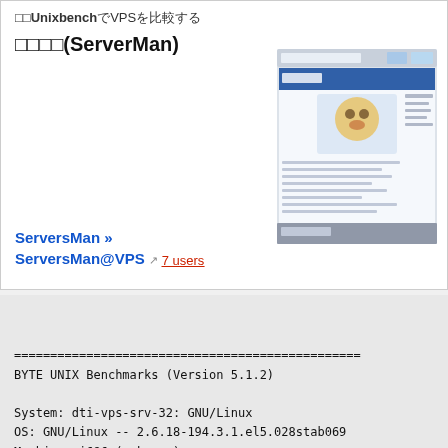UnixbenchでVPSを比較する
格安(ServerMan)
[Figure (screenshot): Screenshot of the ServersMan website homepage showing navigation and content]
ServersMan »
ServersMan@VPS 7 users
================================================
BYTE UNIX Benchmarks (Version 5.1.2)

System: dti-vps-srv-32: GNU/Linux
OS: GNU/Linux -- 2.6.18-194.3.1.el5.028stab069
Machine: i686 (unknown)
Language: en_US.utf8 (charmap="ANSI_X3.4-1968"